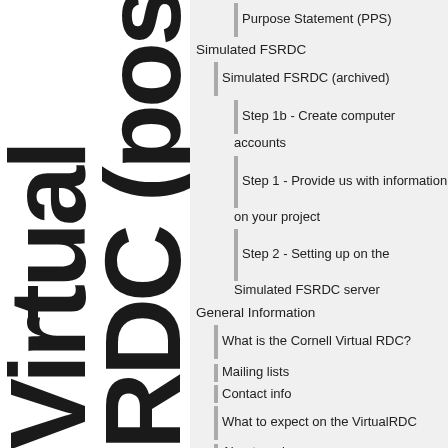[Figure (other): Large vertical bold text spelling 'VirtualRDC (pos' as decorative background element on the left side of the page]
Purpose Statement (PPS)
Simulated FSRDC
Simulated FSRDC (archived)
Step 1b - Create computer accounts
Step 1 - Provide us with information on your project
Step 2 - Setting up on the Simulated FSRDC server
General Information
What is the Cornell Virtual RDC?
Mailing lists
Contact info
What to expect on the VirtualRDC
About our logo
Usage agreement
Rules of Behavior
Bibliography
Available resources
Hardware description
Installed software